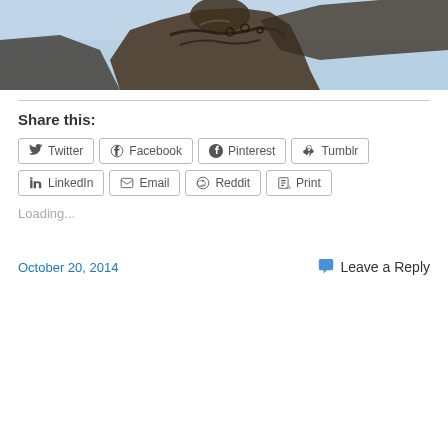[Figure (photo): Close-up photo of a bronze statue against a light blue sky, showing the upper portion of the sculpture with chain/bridle details]
Share this:
Twitter | Facebook | Pinterest | Tumblr | LinkedIn | Email | Reddit | Print
Loading...
October 20, 2014
Leave a Reply